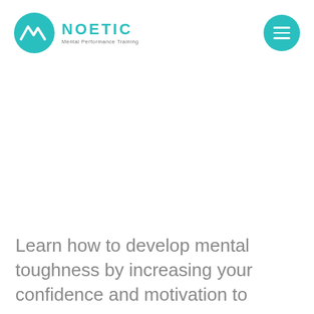[Figure (logo): Noetic Mental Performance Training logo with teal mountain/chart icon and teal text NOETIC, subtitle Mental Performance Training]
[Figure (other): Teal circular hamburger menu button with three horizontal white lines]
Learn how to develop mental toughness by increasing your confidence and motivation to